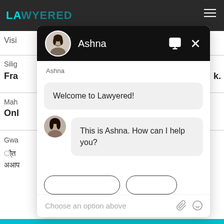[Figure (screenshot): Lawyered website chat widget screenshot showing a chatbot conversation with Ashna. The background shows the Lawyered website with dark top bar and logo. A chat popup is open with Ashna's profile, showing messages 'Welcome to Lawyered!' and 'This is Ashna. How can I help you?' with a text input area at the bottom.]
Ashna
Welcome to Lawyered!
This is Ashna. How can I help you?
Choose an option above